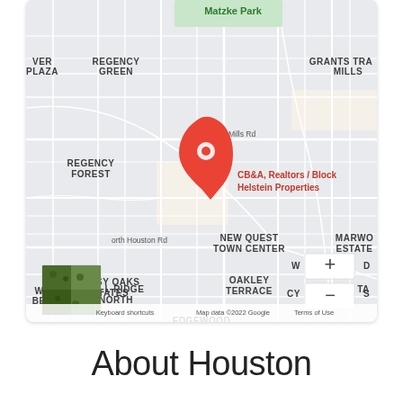[Figure (map): Google Maps screenshot showing CB&A, Realtors / Block Helstein Properties location in Houston, TX area with neighborhoods including Regency Green, Regency Forest, Mill Ridge North, Mossy Oaks Estates, Oakley Terrace, New Quest Town Center, Edgewood Estates, Grants Trail Mills, Marwood Estates. Map shows zoom controls and satellite thumbnail. Footer: Keyboard shortcuts, Map data ©2022 Google, Terms of Use.]
About Houston